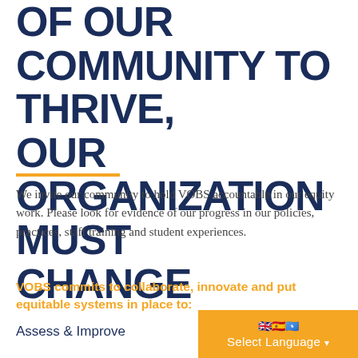OF OUR COMMUNITY TO THRIVE, OUR ORGANIZATION MUST CHANGE
We invite our community to hold VOBS accountable in our equity work. Please look for evidence of our progress in our policies, practices, staff training and student experiences.
VOBS commits to collaborate, innovate and put equitable systems in place to:
Assess & Improve
[Figure (other): Language selector widget showing British, Spanish, and Somali flag icons with 'Select Language' dropdown button on orange background]